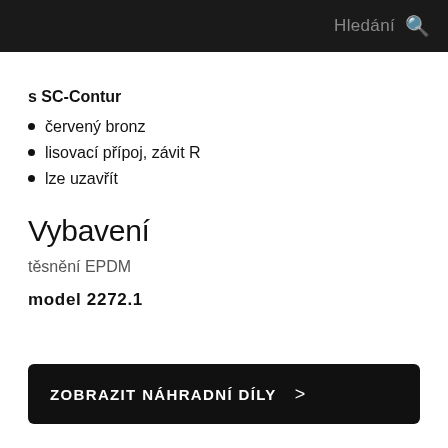Hledání
s SC-Contur
červený bronz
lisovací přípoj, závit R
lze uzavřít
Vybavení
těsnění EPDM
model 2272.1
ZOBRAZIT NÁHRADNÍ DÍLY >